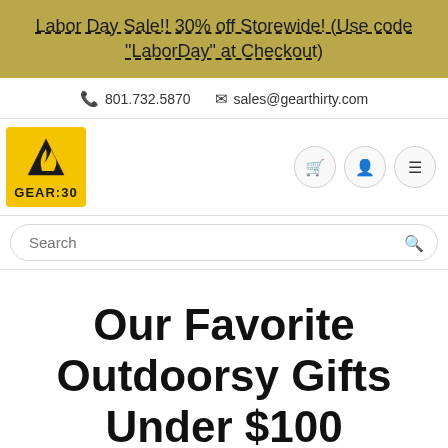Labor Day Sale!! 30% off Storewide! (Use code "LaborDay" at Checkout)
📞 801.732.5870  ✉ sales@gearthirty.com
[Figure (logo): Gear:30 logo — yellow square with mountain/flame icon and GEAR:30 text]
Our Favorite Outdoorsy Gifts Under $100